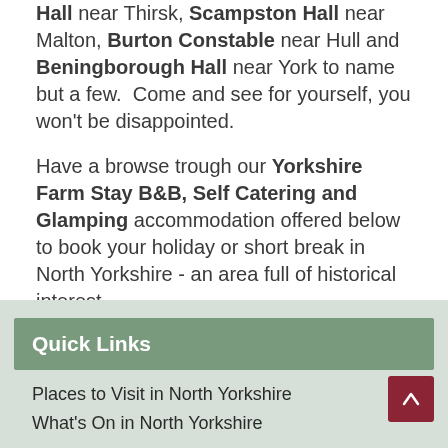Hall near Thirsk, Scampston Hall near Malton, Burton Constable near Hull and Beningborough Hall near York to name but a few. Come and see for yourself, you won't be disappointed.
Have a browse trough our Yorkshire Farm Stay B&B, Self Catering and Glamping accommodation offered below to book your holiday or short break in North Yorkshire - an area full of historical interest.
Quick Links
Places to Visit in North Yorkshire
What's On in North Yorkshire